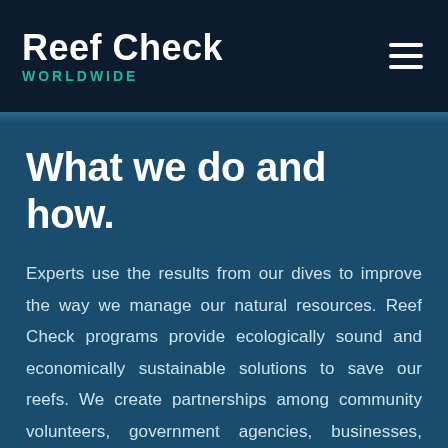Reef Check WORLDWIDE
What we do and how.
Experts use the results from our dives to improve the way we manage our natural resources. Reef Check programs provide ecologically sound and economically sustainable solutions to save our reefs. We create partnerships among community volunteers, government agencies, businesses, universities, and other nonprofits.